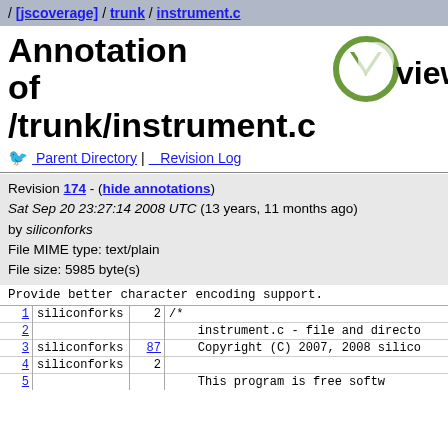/ [jscoverage] / trunk / instrument.c
Annotation of /trunk/instrument.c
Parent Directory | Revision Log
Revision 174 - (hide annotations)
Sat Sep 20 23:27:14 2008 UTC (13 years, 11 months ago)
by siliconforks
File MIME type: text/plain
File size: 5985 byte(s)
Provide better character encoding support.
| Line | Author | Rev | Code |
| --- | --- | --- | --- |
| 1 | siliconforks | 2 | /* |
| 2 |  |  |     instrument.c - file and directo |
| 3 | siliconforks | 87 |     Copyright (C) 2007, 2008 silico |
| 4 | siliconforks | 2 |  |
| 5 |  |  |     This program is free softw |